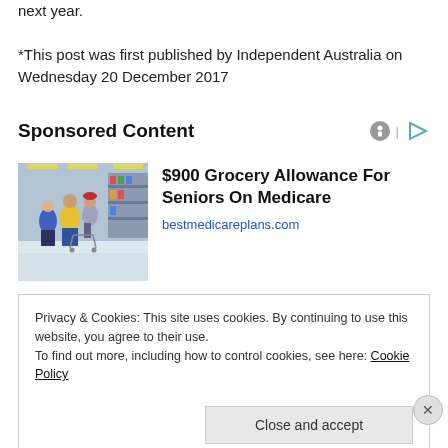next year.
*This post was first published by Independent Australia on Wednesday 20 December 2017
Sponsored Content
[Figure (photo): Photo of people shopping with carts in a large grocery/retail store]
$900 Grocery Allowance For Seniors On Medicare
bestmedicareplans.com
Privacy & Cookies: This site uses cookies. By continuing to use this website, you agree to their use.
To find out more, including how to control cookies, see here: Cookie Policy
Close and accept